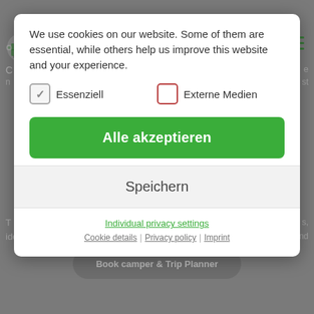[Figure (screenshot): Cookie consent modal dialog overlay on a camping/travel website. The modal contains cookie usage text, two checkboxes (Essenziell checked, Externe Medien unchecked), an 'Alle akzeptieren' green button, a 'Speichern' button, and links for Individual privacy settings, Cookie details, Privacy policy, and Imprint. The background shows a dimmed website with a camper van logo and navigation.]
We use cookies on our website. Some of them are essential, while others help us improve this website and your experience.
Essenziell (checked)
Externe Medien (unchecked)
Alle akzeptieren
Speichern
Individual privacy settings
Cookie details | Privacy policy | Imprint